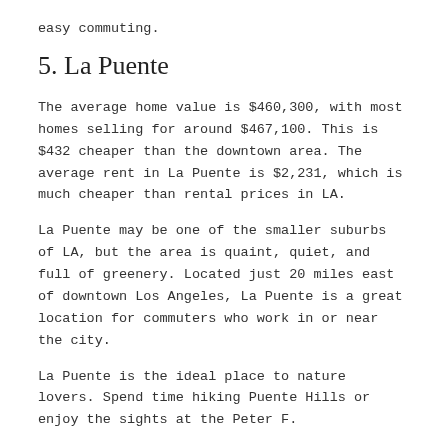easy commuting.
5. La Puente
The average home value is $460,300, with most homes selling for around $467,100. This is $432 cheaper than the downtown area. The average rent in La Puente is $2,231, which is much cheaper than rental prices in LA.
La Puente may be one of the smaller suburbs of LA, but the area is quaint, quiet, and full of greenery. Located just 20 miles east of downtown Los Angeles, La Puente is a great location for commuters who work in or near the city.
La Puente is the ideal place to nature lovers. Spend time hiking Puente Hills or enjoy the sights at the Peter F.